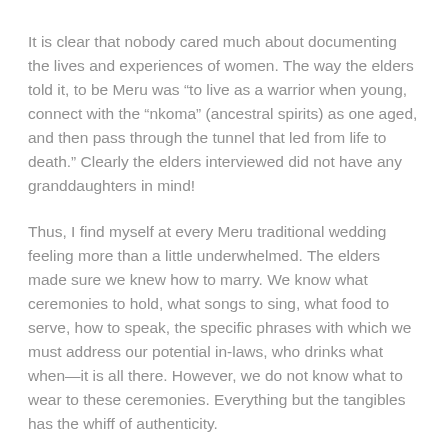It is clear that nobody cared much about documenting the lives and experiences of women. The way the elders told it, to be Meru was “to live as a warrior when young, connect with the “nkoma” (ancestral spirits) as one aged, and then pass through the tunnel that led from life to death.” Clearly the elders interviewed did not have any granddaughters in mind!
Thus, I find myself at every Meru traditional wedding feeling more than a little underwhelmed. The elders made sure we knew how to marry. We know what ceremonies to hold, what songs to sing, what food to serve, how to speak, the specific phrases with which we must address our potential in-laws, who drinks what when—it is all there. However, we do not know what to wear to these ceremonies. Everything but the tangibles has the whiff of authenticity.